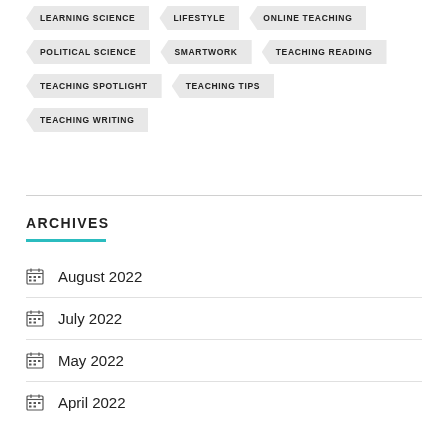LEARNING SCIENCE
LIFESTYLE
ONLINE TEACHING
POLITICAL SCIENCE
SMARTWORK
TEACHING READING
TEACHING SPOTLIGHT
TEACHING TIPS
TEACHING WRITING
ARCHIVES
August 2022
July 2022
May 2022
April 2022